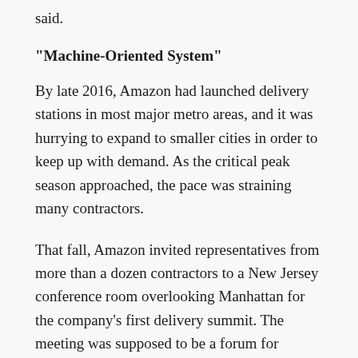said.
“Machine-Oriented System”
By late 2016, Amazon had launched delivery stations in most major metro areas, and it was hurrying to expand to smaller cities in order to keep up with demand. As the critical peak season approached, the pace was straining many contractors.
That fall, Amazon invited representatives from more than a dozen contractors to a New Jersey conference room overlooking Manhattan for the company’s first delivery summit. The meeting was supposed to be a forum for constructive feedback about the program. Instead, attendees